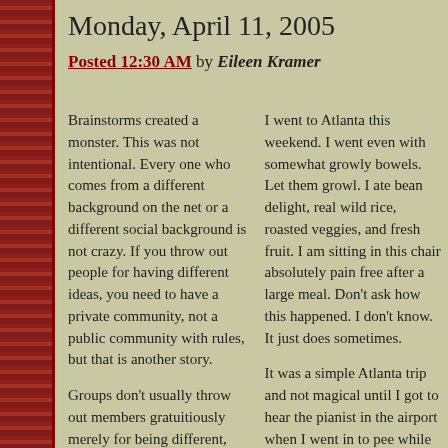Monday, April 11, 2005
Posted 12:30 AM by Eileen Kramer
Brainstorms created a monster. This was not intentional. Every one who comes from a different background on the net or a different social background is not crazy. If you throw out people for having different ideas, you need to have a private community, not a public community with rules, but that is another story.
Groups don't usually throw out members gratuitiously merely for being different, not groups that profess to
I went to Atlanta this weekend. I went even with somewhat growly bowels. Let them growl. I ate bean delight, real wild rice, roasted veggies, and fresh fruit. I am sitting in this chair absolutely pain free after a large meal. Don't ask how this happened. I don't know. It just does sometimes.
It was a simple Atlanta trip and not magical until I got to hear the pianist in the airport when I went in to pee while waiting for the